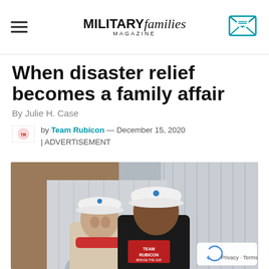MILITARY families MAGAZINE
When disaster relief becomes a family affair
By Julie H. Case
by Team Rubicon — December 15, 2020 | ADVERTISEMENT
[Figure (photo): A man and woman wearing white hard hats smiling, the man wearing a Team Rubicon shirt, photographed in front of metal storage units]